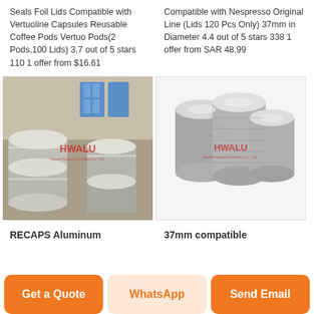Seals Foil Lids Compatible with Vertuoline Capsules Reusable Coffee Pods Vertuo Pods(2 Pods,100 Lids) 3.7 out of 5 stars 110 1 offer from $16.61
Compatible with Nespresso Original Line (Lids 120 Pcs Only) 37mm in Diameter 4.4 out of 5 stars 338 1 offer from SAR 48.99
[Figure (photo): Stacked rolls of aluminum foil/metal strips in a warehouse setting with HWALU watermark]
[Figure (photo): Stack of round aluminum discs/circles piled together with HWALU watermark]
RECAPS Aluminum
37mm compatible
Get a Quote
WhatsApp
Send Email